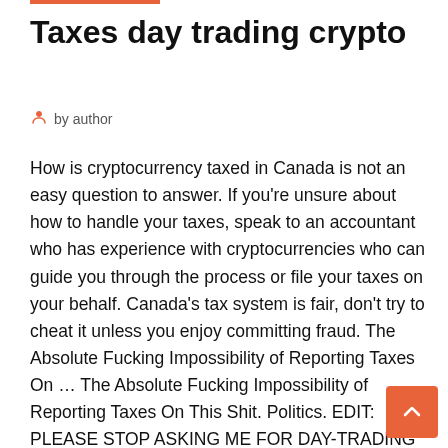Taxes day trading crypto
by author
How is cryptocurrency taxed in Canada is not an easy question to answer. If you're unsure about how to handle your taxes, speak to an accountant who has experience with cryptocurrencies who can guide you through the process or file your taxes on your behalf. Canada's tax system is fair, don't try to cheat it unless you enjoy committing fraud. The Absolute Fucking Impossibility of Reporting Taxes On … The Absolute Fucking Impossibility of Reporting Taxes On This Shit. Politics. EDIT: PLEASE STOP ASKING ME FOR DAY-TRADING TIPS. LEARN BY DOING. I'm in the US. I day-trade cryptocurrencies and have made tens of thousands of orders across many pairs and exchanges (and have made substantially more than I would have by just "hodl xd", even with The Absolute Fucking Impossibility of Reporting Taxes On Shit. Politics. EDIT: PLEASE STOP ASKING ME FOR DAY-TRADING